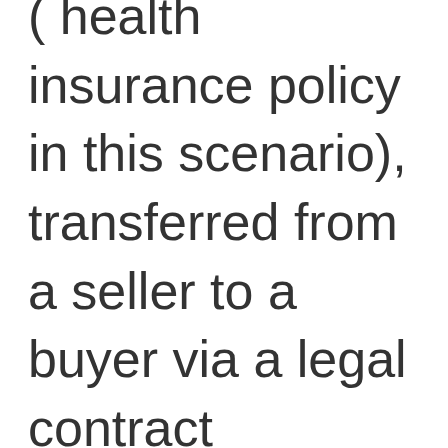( health insurance policy in this scenario), transferred from a seller to a buyer via a legal contract